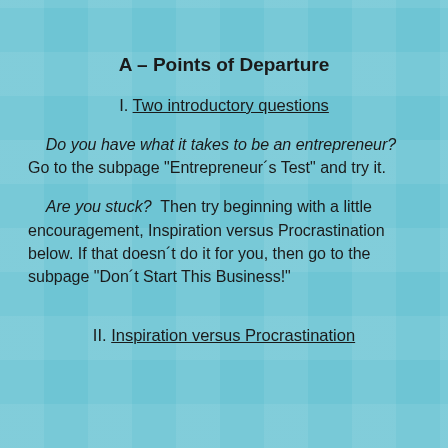A – Points of Departure
I. Two introductory questions
Do you have what it takes to be an entrepreneur?  Go to the subpage "Entrepreneur´s Test" and try it.
Are you stuck?  Then try beginning with a little encouragement, Inspiration versus Procrastination below. If that doesn´t do it for you, then go to the subpage "Don´t Start This Business!"
II. Inspiration versus Procrastination